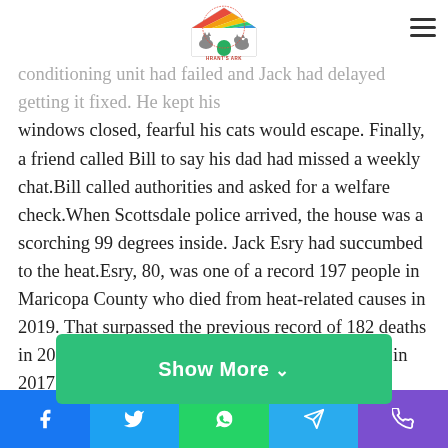[Figure (logo): Hrant's Ark Foundation logo — a house shape with colorful roof stripes and animal silhouettes inside, with text 'HRANT'S ARK FOUNDATION' around a circular badge]
father, who had already been injured in a serious fall, would be affected by the extreme heat, as his air conditioning unit had failed and Jack had delayed getting it fixed. He kept his windows closed, fearful his cats would escape. Finally, a friend called Bill to say his dad had missed a weekly chat.Bill called authorities and asked for a welfare check.When Scottsdale police arrived, the house was a scorching 99 degrees inside. Jack Esry had succumbed to the heat.Esry, 80, was one of a record 197 people in Maricopa County who died from heat-related causes in 2019. That surpassed the previous record of 182 deaths in 2018, which surpassed the record of 179 deaths in 2017. So far in 2020, the Maricopa County
[Figure (other): Show More button — green rounded rectangle with white bold text 'Show More' and a downward chevron arrow]
Facebook | Twitter | WhatsApp | Telegram | Phone share icons